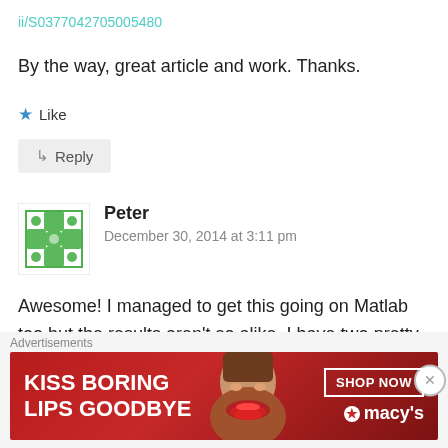ii/S0377042705005480
By the way, great article and work. Thanks.
★ Like
↳ Reply
Peter
December 30, 2014 at 3:11 pm
Awesome! I managed to get this going on Matlab too but the results aren't so alike. I have two pretty straight
[Figure (other): Advertisement banner: KISS BORING LIPS GOODBYE with SHOP NOW button and Macy's logo]
Advertisements